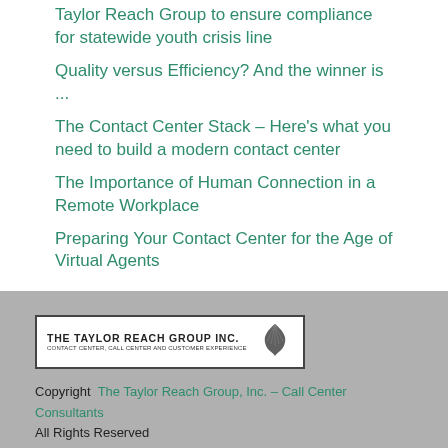Taylor Reach Group to ensure compliance for statewide youth crisis line
Quality versus Efficiency? And the winner is ...
The Contact Center Stack – Here's what you need to build a modern contact center
The Importance of Human Connection in a Remote Workplace
Preparing Your Contact Center for the Age of Virtual Agents
[Figure (logo): The Taylor Reach Group Inc. logo with fern icon and tagline 'Contact Center, Call Center and Customer Experience']
Copyright  The Taylor Reach Group, Inc. – Call Center Consultants
All Rights Reserved
Privacy Policy  |  Terms And Conditions
Webmaster:  Empower You Web Solutions Inc.
OUR ADDRESS
Head Office